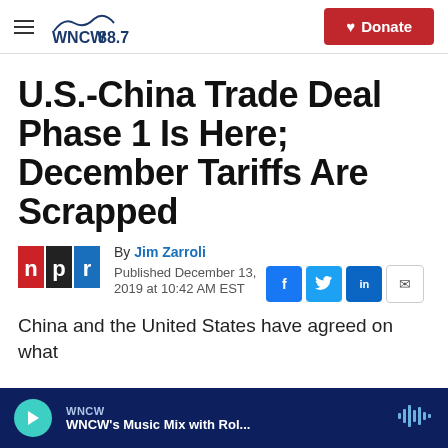WNCW 88.7 wncw.org | Donate
U.S.-China Trade Deal Phase 1 Is Here; December Tariffs Are Scrapped
By Jim Zarroli
Published December 13, 2019 at 10:42 AM EST
China and the United States have agreed on what
WNCW | WNCW's Music Mix with Rol...